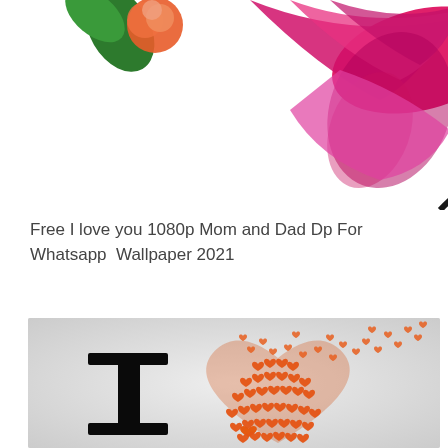[Figure (illustration): Partial view of a colorful decorative illustration showing a bird-like figure with bright pink/magenta wings, green leaves, and an orange/red rose flower element. The image is cropped at the top of the page showing only the lower portion.]
Free I love you 1080p Mom and Dad Dp For Whatsapp  Wallpaper 2021
[Figure (illustration): Decorative wallpaper image showing a large bold black letter 'I' on the left and a 3D heart shape made of many small orange hearts clustered together, with small orange hearts scattered/floating above. The background is light gray/white.]